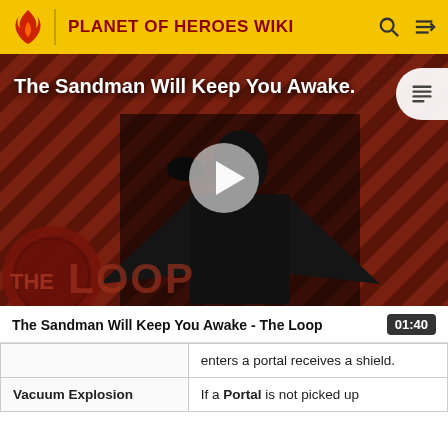PLANET OF HEROES WIKI
[Figure (screenshot): Video thumbnail for 'The Sandman Will Keep You Awake - The Loop' showing a dark figure in black against a red diagonal striped background, with a play button in the center and 'THE LOOP' branding at the bottom left.]
The Sandman Will Keep You Awake - The Loop
|  | enters a portal receives a shield. |
| Vacuum Explosion | If a Portal is not picked up |